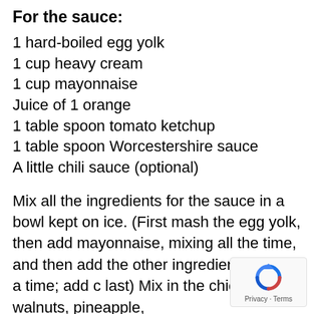For the sauce:
1 hard-boiled egg yolk
1 cup heavy cream
1 cup mayonnaise
Juice of 1 orange
1 table spoon tomato ketchup
1 table spoon Worcestershire sauce
A little chili sauce (optional)
Mix all the ingredients for the sauce in a bowl kept on ice. (First mash the egg yolk, then add mayonnaise, mixing all the time, and then add the other ingredients one at a time; add c last) Mix in the chicken, walnuts, pineapple,